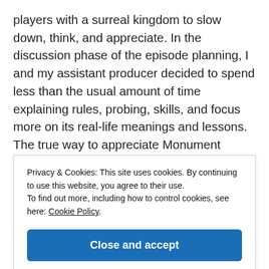players with a surreal kingdom to slow down, think, and appreciate. In the discussion phase of the episode planning, I and my assistant producer decided to spend less than the usual amount of time explaining rules, probing, skills, and focus more on its real-life meanings and lessons. The true way to appreciate Monument Valley is to understand the game setting and willing to break your existing belief of dimensionality or definition of possible. As I mentioned in the podcast reflection
Privacy & Cookies: This site uses cookies. By continuing to use this website, you agree to their use.
To find out more, including how to control cookies, see here: Cookie Policy
Close and accept
the drafting phase, and my team decided to use